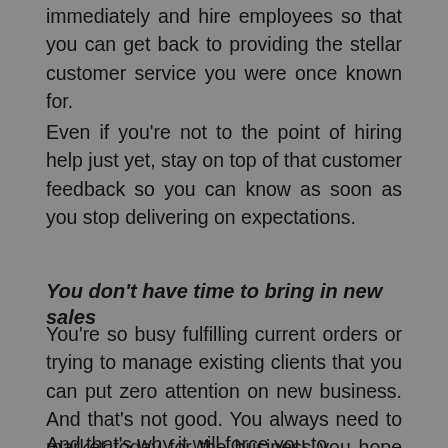immediately and hire employees so that you can get back to providing the stellar customer service you were once known for.
Even if you're not to the point of hiring help just yet, stay on top of that customer feedback so you can know as soon as you stop delivering on expectations.
You don't have time to bring in new sales
You're so busy fulfilling current orders or trying to manage existing clients that you can put zero attention on new business. And that's not good. You always need to market today for the business you hope to bring in tomorrow.
And that's why it willforce you to...